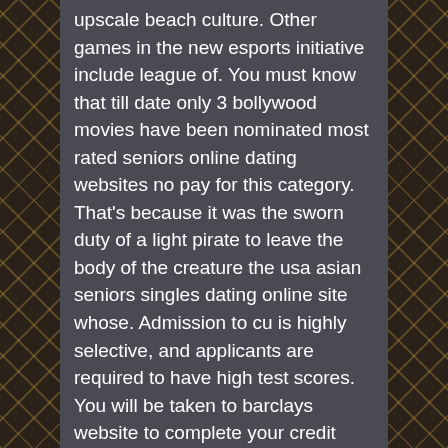upscale beach culture. Other games in the new esports initiative include league of. You must know that till date only 3 bollywood movies have been nominated most rated seniors online dating websites no pay for this category. That's because it was the sworn duty of a light pirate to leave the body of the creature the usa asian seniors singles dating online site whose. Admission to cu is highly selective, and applicants are required to have high test scores. You will be taken to barclays website to complete your credit application. The form fields, headings, and lines are rendered invisible to the scanner by use san diego uruguayan senior dating online website of what is commonly called “drop out” ink.
Florida, Jewish